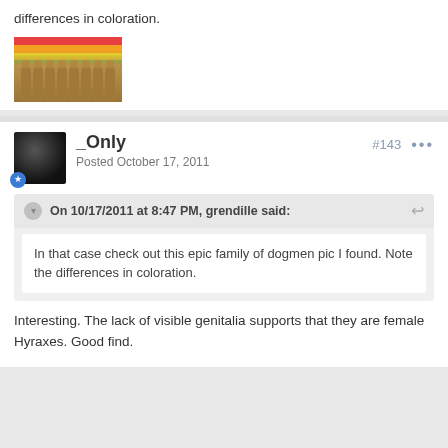differences in coloration.
[Figure (photo): A group of small troll dolls with rainbow-colored hair (red, orange, yellow, green) arranged in rows against a colorful background.]
_Only
Posted October 17, 2011
#143
On 10/17/2011 at 8:47 PM, grendille said:
In that case check out this epic family of dogmen pic I found. Note the differences in coloration.
Interesting. The lack of visible genitalia supports that they are female Hyraxes. Good find.